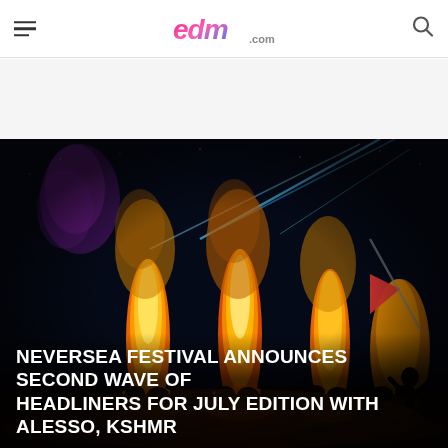EDM.com
[Figure (photo): Concert festival stage at night with massive columns of yellow and orange fire/smoke pyrotechnics rising over a large crowd. A person in silhouette stands at the front right with arms raised. A red flag is visible in the center. Blue laser beams cut through the night sky above.]
NEVERSEA FESTIVAL ANNOUNCES SECOND WAVE OF HEADLINERS FOR JULY EDITION WITH ALESSO, KSHMR